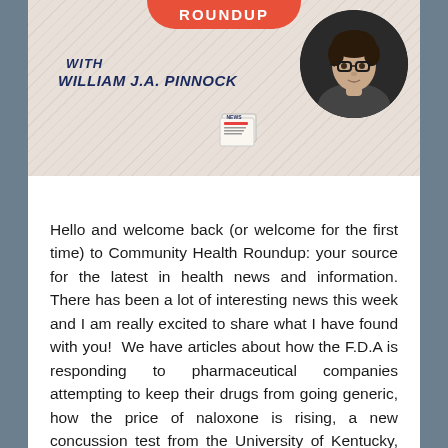[Figure (illustration): Community Health Roundup banner with red button labeled ROUNDUP, cursor icon, italic bold text WITH WILLIAM J.A. PINNOCK, a newspaper icon, and a circular black-and-white portrait photo of a young man with glasses]
Hello and welcome back (or welcome for the first time) to Community Health Roundup: your source for the latest in health news and information. There has been a lot of interesting news this week and I am really excited to share what I have found with you!  We have articles about how the F.D.A is responding to pharmaceutical companies attempting to keep their drugs from going generic, how the price of naloxone is rising, a new concussion test from the University of Kentucky, why CHCs benefit Florida, and finally a tribute to “the man